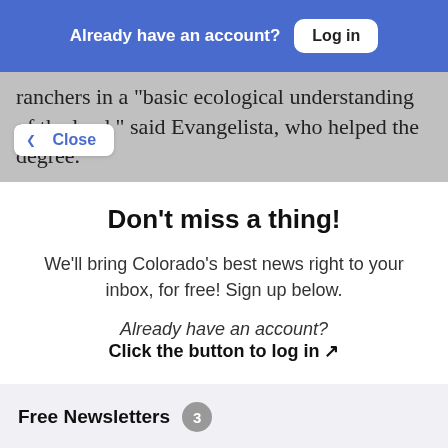Already have an account? Log in
ranchers in a "basic ecological understanding of the land," said Evangelista, who helped the degree.
Close
Don't miss a thing!
We'll bring Colorado's best news right to your inbox, for free! Sign up below.
Already have an account?
Click the button to log in ↗
Free Newsletters 3
The Sunriser - Newsletter
A guided tour through the best in Colorado journalism. Every